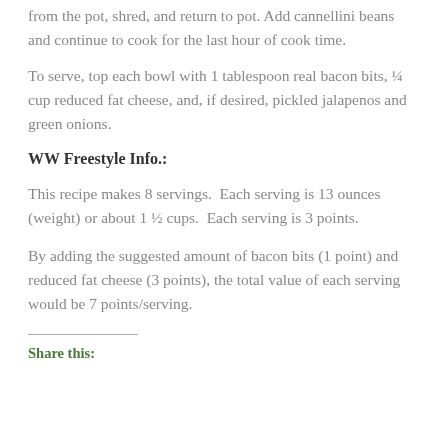from the pot, shred, and return to pot. Add cannellini beans and continue to cook for the last hour of cook time.
To serve, top each bowl with 1 tablespoon real bacon bits, ¼ cup reduced fat cheese, and, if desired, pickled jalapenos and green onions.
WW Freestyle Info.:
This recipe makes 8 servings.  Each serving is 13 ounces (weight) or about 1 ½ cups.  Each serving is 3 points.
By adding the suggested amount of bacon bits (1 point) and reduced fat cheese (3 points), the total value of each serving would be 7 points/serving.
Share this: